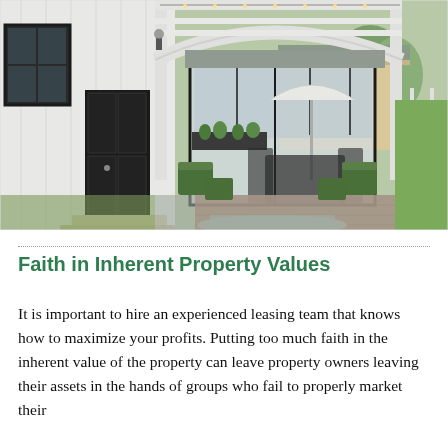[Figure (photo): Exterior photo of a white farmhouse-style home with a pergola, gravel pathway, boxwood shrubs, and outdoor patio furniture with string lights overhead.]
Faith in Inherent Property Values
It is important to hire an experienced leasing team that knows how to maximize your profits. Putting too much faith in the inherent value of the property can leave property owners leaving their assets in the hands of groups who fail to properly market their